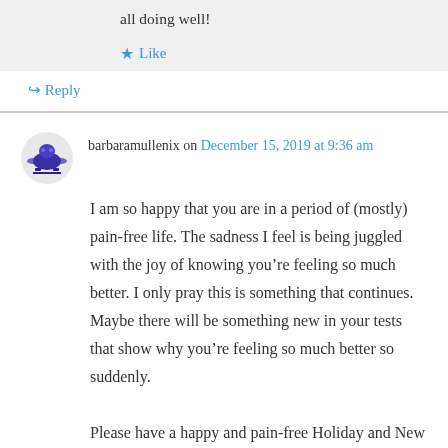all doing well!
★ Like
↳ Reply
barbaramullenix on December 15, 2019 at 9:36 am
I am so happy that you are in a period of (mostly) pain-free life. The sadness I feel is being juggled with the joy of knowing you're feeling so much better. I only pray this is something that continues. Maybe there will be something new in your tests that show why you're feeling so much better so suddenly.

Please have a happy and pain-free Holiday and New Year!